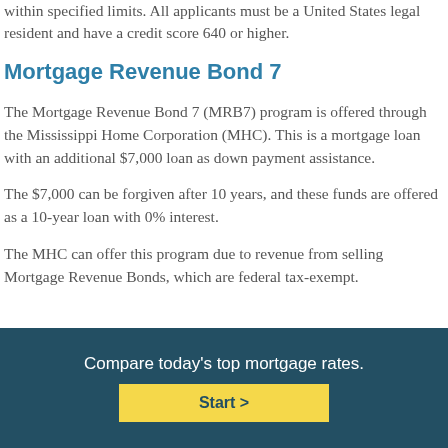within specified limits. All applicants must be a United States legal resident and have a credit score 640 or higher.
Mortgage Revenue Bond 7
The Mortgage Revenue Bond 7 (MRB7) program is offered through the Mississippi Home Corporation (MHC). This is a mortgage loan with an additional $7,000 loan as down payment assistance.
The $7,000 can be forgiven after 10 years, and these funds are offered as a 10-year loan with 0% interest.
The MHC can offer this program due to revenue from selling Mortgage Revenue Bonds, which are federal tax-exempt.
Compare today's top mortgage rates.
Start >